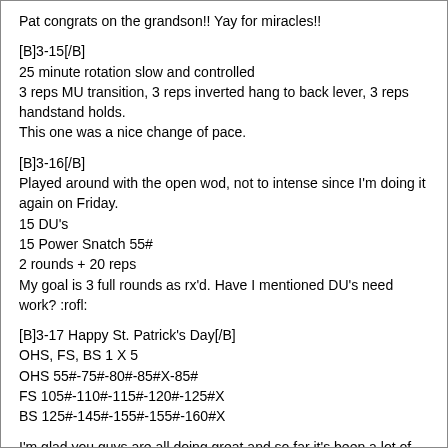Pat congrats on the grandson!! Yay for miracles!!
[B]3-15[/B]
25 minute rotation slow and controlled
3 reps MU transition, 3 reps inverted hang to back lever, 3 reps handstand holds.
This one was a nice change of pace.
[B]3-16[/B]
Played around with the open wod, not to intense since I'm doing it again on Friday.
15 DU's
15 Power Snatch 55#
2 rounds + 20 reps
My goal is 3 full rounds as rx'd. Have I mentioned DU's need work? :rofl:
[B]3-17 Happy St. Patrick's Day[/B]
OHS, FS, BS 1 X 5
OHS 55#-75#-80#-85#X-85#
FS 105#-110#-115#-120#-125#X
BS 125#-145#-155#-155#-160#X
I'm glad you guys are all doing great and so far it's been a lot of fun watching all the times go up for the Masters on the Games site.
I'm heading to GA tomorrow to run a 1/2 Marathon on Sunday. I hope you all have a wonderful weekend!